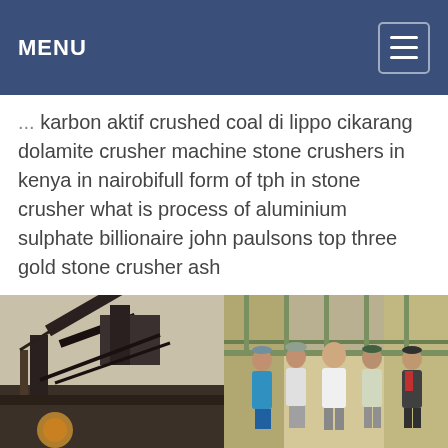MENU
karbon aktif crushed coal di lippo cikarang dolamite crusher machine stone crushers in kenya in nairobifull form of tph in stone crusher what is process of aluminium sulphate billionaire john paulsons top three gold stone crusher ash
[Figure (photo): Industrial stone crusher / mining equipment at a quarry site, outdoor scene with machinery and conveyor belts against a dusty sky.]
[Figure (photo): Four men standing in front of industrial crushing/mining machinery, wearing work clothes and caps.]